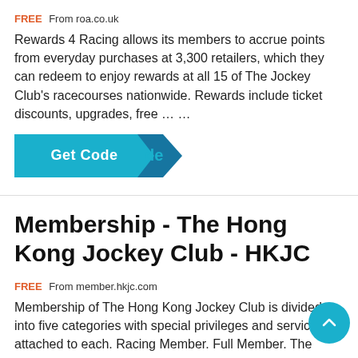FREE From roa.co.uk
Rewards 4 Racing allows its members to accrue points from everyday purchases at 3,300 retailers, which they can redeem to enjoy rewards at all 15 of The Jockey Club's racecourses nationwide. Rewards include ticket discounts, upgrades, free … …
[Figure (other): Get Code button with teal background and arrow accent]
Membership - The Hong Kong Jockey Club - HKJC
FREE From member.hkjc.com
Membership of The Hong Kong Jockey Club is divided into five categories with special privileges and services attached to each. Racing Member. Full Member. The Racing Club Member. Mainland…